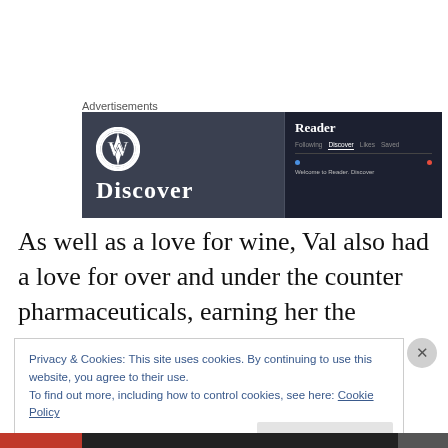Advertisements
[Figure (screenshot): WordPress Reader advertisement banner showing the WordPress logo, 'Discover' text, and a Reader UI mockup on a dark background.]
As well as a love for wine, Val also had a love for over and under the counter pharmaceuticals, earning her the nickname ‘Madam Chemical’. At any given time there was
Privacy & Cookies: This site uses cookies. By continuing to use this website, you agree to their use.
To find out more, including how to control cookies, see here: Cookie Policy
Close and accept